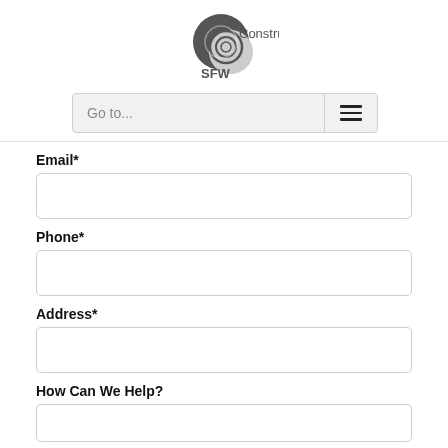[Figure (logo): SFW Construction logo — a spiral shell graphic in dark grey and light grey with 'SFW' below and 'Construction' to the right]
Go to...
Email*
Phone*
Address*
How Can We Help?